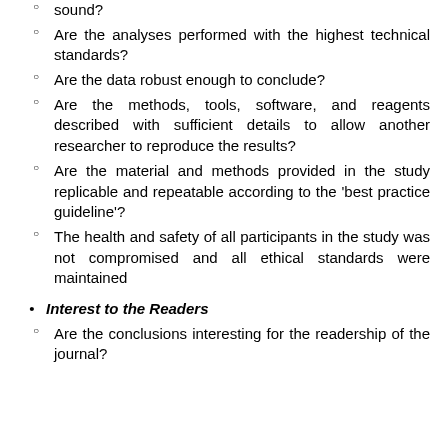Are the analyses performed with the highest technical standards?
Are the data robust enough to conclude?
Are the methods, tools, software, and reagents described with sufficient details to allow another researcher to reproduce the results?
Are the material and methods provided in the study replicable and repeatable according to the 'best practice guideline'?
The health and safety of all participants in the study was not compromised and all ethical standards were maintained
Interest to the Readers
Are the conclusions interesting for the readership of the journal?